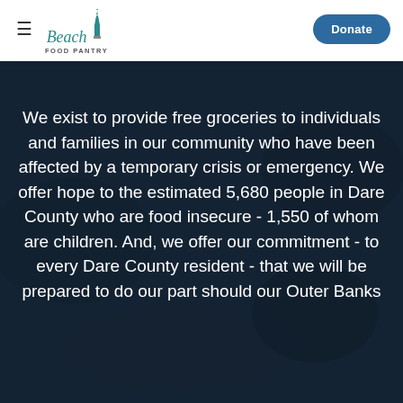[Figure (logo): Beach Food Pantry logo with lighthouse icon and teal script text]
[Figure (other): Donate button - rounded dark blue pill button in top right navigation]
[Figure (photo): Dark hero image section with blurred background of food/groceries in dark overlay]
We exist to provide free groceries to individuals and families in our community who have been affected by a temporary crisis or emergency. We offer hope to the estimated 5,680 people in Dare County who are food insecure - 1,550 of whom are children. And, we offer our commitment - to every Dare County resident - that we will be prepared to do our part should our Outer Banks community be affected by a natural